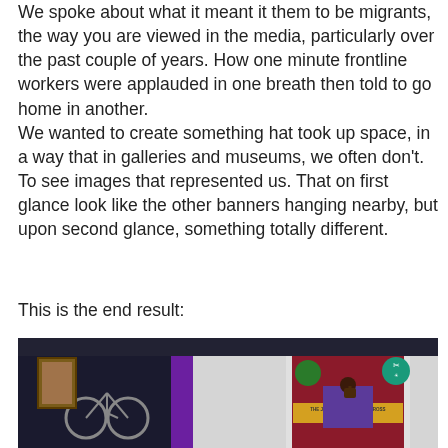We spoke about what it meant it them to be migrants, the way you are viewed in the media, particularly over the past couple of years. How one minute frontline workers were applauded in one breath then told to go home in another.
We wanted to create something hat took up space, in a way that in galleries and museums, we often don't. To see images that represented us. That on first glance look like the other banners hanging nearby, but upon second glance, something totally different.
This is the end result:
[Figure (photo): A photograph showing a museum or gallery interior with a purple wall/bar. A decorative banner or tapestry is hanging on a white wall, featuring a figure with raised fist, a yellow scroll with text 'THE JOURNEY WE MADE ACROSS LAND AND SEA', a teal circular emblem at top right, and a green circular emblem. To the left, a bicycle and a framed picture are partially visible against a dark background.]